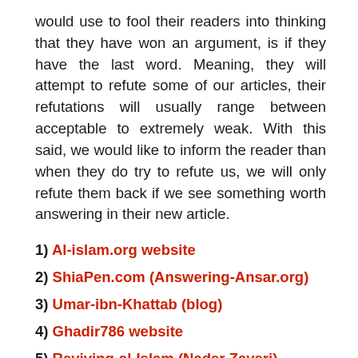would use to fool their readers into thinking that they have won an argument, is if they have the last word. Meaning, they will attempt to refute some of our articles, their refutations will usually range between acceptable to extremely weak. With this said, we would like to inform the reader than when they do try to refute us, we will only refute them back if we see something worth answering in their new article.
1) Al-islam.org website
2) ShiaPen.com (Answering-Ansar.org)
3) Umar-ibn-Khattab (blog)
4) Ghadir786 website
5) Reviving-al-Islam (Nader Zaveri)
6) ValiAsr-Ai.com